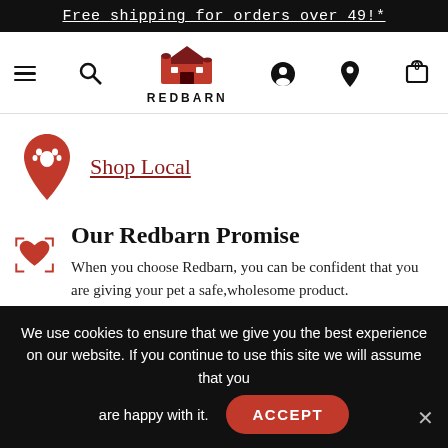Free shipping for orders over 49!*
[Figure (logo): Redbarn pet products logo with red barn illustration and navigation icons including hamburger menu, search, barn logo, user, location, and cart icons]
Shop Local
Our Redbarn Promise
When you choose Redbarn, you can be confident that you are giving your pet a safe,wholesome product.
We use cookies to ensure that we give you the best experience on our website. If you continue to use this site we will assume that you are happy with it. ACCEPT